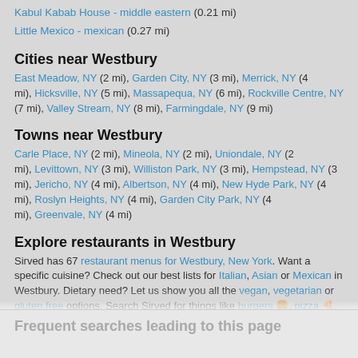Kabul Kabab House - middle eastern (0.21 mi)
Little Mexico - mexican (0.27 mi)
Cities near Westbury
East Meadow, NY (2 mi), Garden City, NY (3 mi), Merrick, NY (4 mi), Hicksville, NY (5 mi), Massapequa, NY (6 mi), Rockville Centre, NY (7 mi), Valley Stream, NY (8 mi), Farmingdale, NY (9 mi)
Towns near Westbury
Carle Place, NY (2 mi), Mineola, NY (2 mi), Uniondale, NY (2 mi), Levittown, NY (3 mi), Williston Park, NY (3 mi), Hempstead, NY (3 mi), Jericho, NY (4 mi), Albertson, NY (4 mi), New Hyde Park, NY (4 mi), Roslyn Heights, NY (4 mi), Garden City Park, NY (4 mi), Greenvale, NY (4 mi)
Explore restaurants in Westbury
Sirved has 67 restaurant menus for Westbury, New York. Want a specific cuisine? Check out our best lists for Italian, Asian or Mexican in Westbury. Dietary need? Let us show you all the vegan, vegetarian or gluten free options. Search Sirved for things like burgers 🍔, pizza 🍕, tacos 🌮, wings and more. Need just a kids menu or drink menu? Sirved categorizes our menus to make exploring easier.
Frequent searches leading to this page